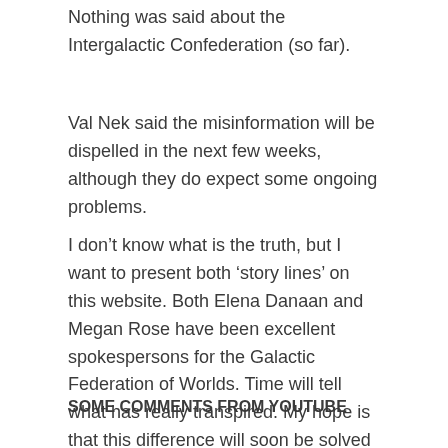Nothing was said about the Intergalactic Confederation (so far).
Val Nek said the misinformation will be dispelled in the next few weeks, although they do expect some ongoing problems.
I don’t know what is the truth, but I want to present both ‘story lines’ on this website. Both Elena Danaan and Megan Rose have been excellent spokespersons for the Galactic Federation of Worlds. Time will tell what has really transpired. My hope is that this difference will soon be solved and that they will work together again, just like they used to.
SOME COMMENTS FROM YOUTUBE